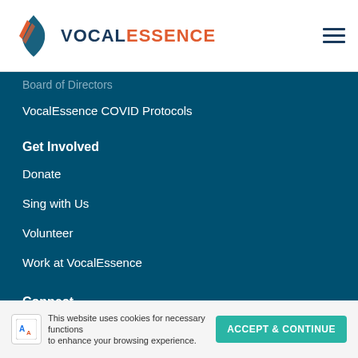VocalEssence — navigation header with logo and hamburger menu
Board of Directors
VocalEssence COVID Protocols
Get Involved
Donate
Sing with Us
Volunteer
Work at VocalEssence
Connect
Email Sign Up
Contact Us/Location
Chorus Connection
VocalEssence Board Login
This website uses cookies for necessary functions to enhance your browsing experience. ACCEPT & CONTINUE